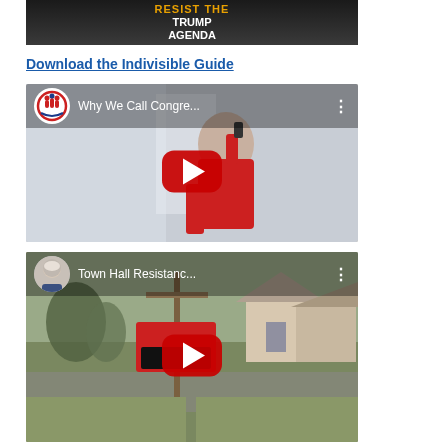[Figure (screenshot): Partial screenshot showing 'RESIST THE TRUMP AGENDA' text overlay on a dark background with people visible]
Download the Indivisible Guide
[Figure (screenshot): YouTube video thumbnail for 'Why We Call Congre...' with Indivisible organization logo and a woman in red dress. Large red play button in center.]
[Figure (screenshot): YouTube video thumbnail for 'Town Hall Resistanc...' with a man's headshot as channel icon, outdoor suburban street scene with a sign on a utility pole. Large red play button in center.]